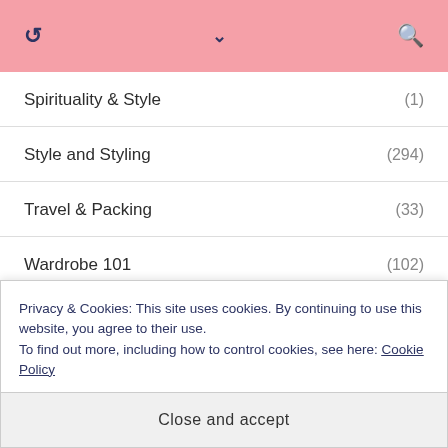↩ ∨ 🔍
Spirituality & Style (1)
Style and Styling (294)
Travel & Packing (33)
Wardrobe 101 (102)
Privacy & Cookies: This site uses cookies. By continuing to use this website, you agree to their use.
To find out more, including how to control cookies, see here: Cookie Policy
Close and accept